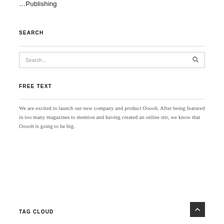...Publishing
SEARCH
Search...
FREE TEXT
We are excited to launch our new company and product Ooooh. After being featured in too many magazines to mention and having created an online stir, we know that Ooooh is going to be big.
TAG CLOUD